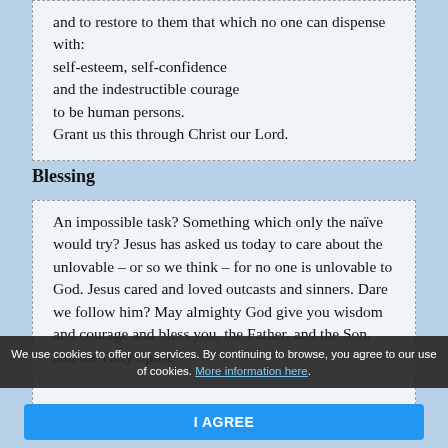and to restore to them that which no one can dispense with:
self-esteem, self-confidence
and the indestructible courage
to be human persons.
Grant us this through Christ our Lord.
Blessing
An impossible task? Something which only the naïve would try? Jesus has asked us today to care about the unlovable – or so we think – for no one is unlovable to God. Jesus cared and loved outcasts and sinners. Dare we follow him? May almighty God give you wisdom and courage and bless you, the Father, and the Son, and the Holy Spirit.
We use cookies to offer our services. By continuing to browse, you agree to our use of cookies. More information here.
I AGREE